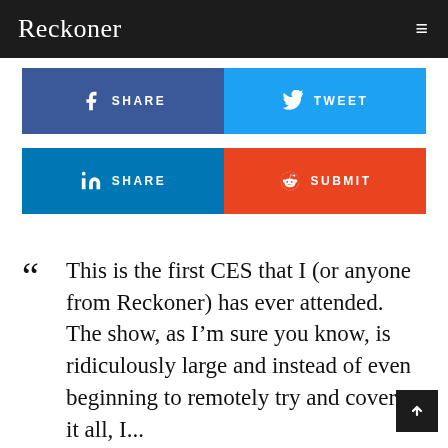Reckoner
[Figure (infographic): Social sharing buttons row 1: Facebook SHARE and Twitter TWEET]
[Figure (infographic): Social sharing buttons row 2: LinkedIn SHARE and Reddit SUBMIT]
This is the first CES that I (or anyone from Reckoner) has ever attended. The show, as I'm sure you know, is ridiculously large and instead of even beginning to remotely try and cover it all, I...